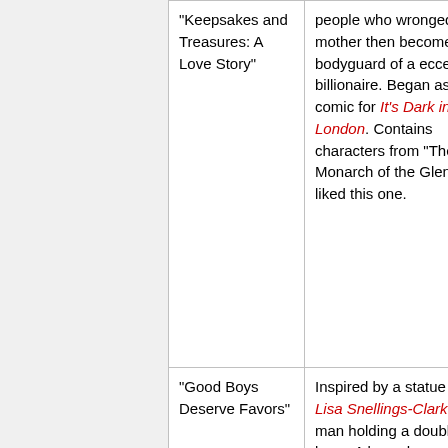| "Keepsakes and Treasures: A Love Story" | people who wronged his mother then becomes a bodyguard of a eccentric billionaire. Began as a comic for It's Dark in London. Contains characters from "The Monarch of the Glen." I liked this one. |
| "Good Boys Deserve Favors" | Inspired by a statue by Lisa Snellings-Clark of a man holding a double bass. A boy who can't play well plays a great song |